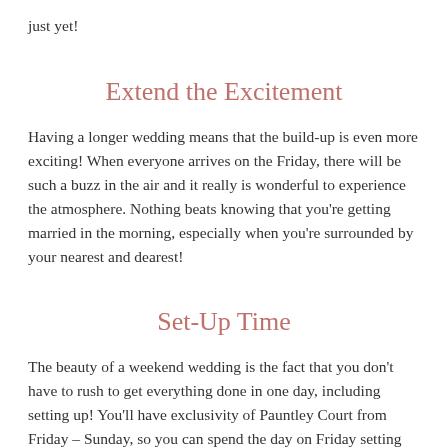just yet!
Extend the Excitement
Having a longer wedding means that the build-up is even more exciting! When everyone arrives on the Friday, there will be such a buzz in the air and it really is wonderful to experience the atmosphere. Nothing beats knowing that you're getting married in the morning, especially when you're surrounded by your nearest and dearest!
Set-Up Time
The beauty of a weekend wedding is the fact that you don't have to rush to get everything done in one day, including setting up! You'll have exclusivity of Pauntley Court from Friday – Sunday, so you can spend the day on Friday setting up without anyone rushing you to get everything done. It will also...